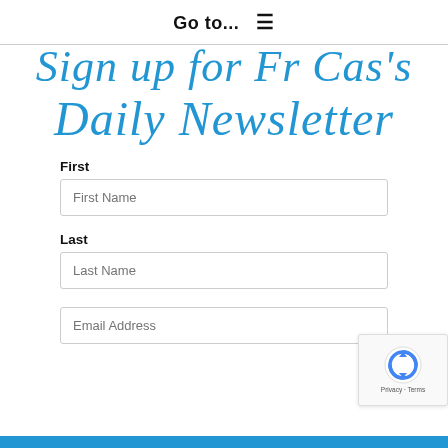Go to...  ☰
Sign up for Fr Cas's Daily Newsletter
First
First Name
Last
Last Name
Email Address
[Figure (logo): reCAPTCHA badge with spinning arrows icon and Privacy - Terms text]